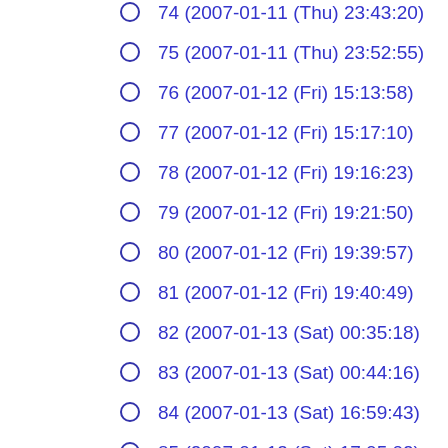74 (2007-01-11 (Thu) 23:43:20)
75 (2007-01-11 (Thu) 23:52:55)
76 (2007-01-12 (Fri) 15:13:58)
77 (2007-01-12 (Fri) 15:17:10)
78 (2007-01-12 (Fri) 19:16:23)
79 (2007-01-12 (Fri) 19:21:50)
80 (2007-01-12 (Fri) 19:39:57)
81 (2007-01-12 (Fri) 19:40:49)
82 (2007-01-13 (Sat) 00:35:18)
83 (2007-01-13 (Sat) 00:44:16)
84 (2007-01-13 (Sat) 16:59:43)
85 (2007-01-13 (Sat) 17:05:02)
86 (2007-01-13 (Sat) 20:53:36)
87 (2007-01-13 (Sat) 21:11:19)
88 (2007-01-13 (Sat) 21:21:18)
89 (2007-01-14 (Sun) 00:43:58)
90 (2007-01-14 (Sun) 00:45:04)
91 (2007-01-14 (Sun) 15:11:29)
92 (2007-01-14 (Sun) 15:13:07)
93 (2007-01-14 (Sun) 19:12:09)
94 (2007-01-14 (Sun) 19:13:10)
95 (2007-01-15 (Mon) 06:39:47)
96 (2007-01-15 (Mon) 07:01:43)
97 (2007-01-15 (Mon) 13:41:46)
98 (2007-01-15 (Mon) 15:05:47)